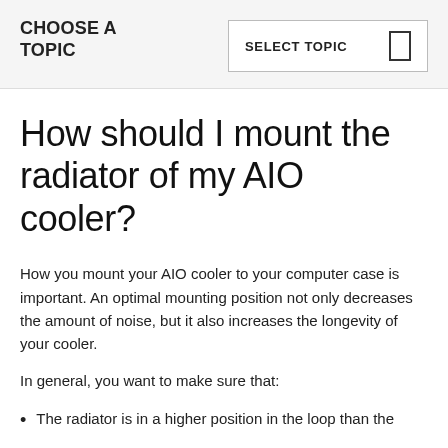CHOOSE A TOPIC
SELECT TOPIC
How should I mount the radiator of my AIO cooler?
How you mount your AIO cooler to your computer case is important. An optimal mounting position not only decreases the amount of noise, but it also increases the longevity of your cooler.
In general, you want to make sure that:
The radiator is in a higher position in the loop than the